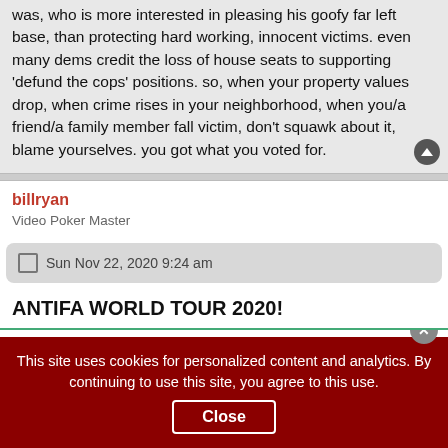was, who is more interested in pleasing his goofy far left base, than protecting hard working, innocent victims. even many dems credit the loss of house seats to supporting 'defund the cops' positions. so, when your property values drop, when crime rises in your neighborhood, when you/a friend/a family member fall victim, don't squawk about it, blame yourselves. you got what you voted for.
billryan
Video Poker Master
Sun Nov 22, 2020 9:24 am
ANTIFA WORLD TOUR 2020!
This site uses cookies for personalized content and analytics. By continuing to use this site, you agree to this use.